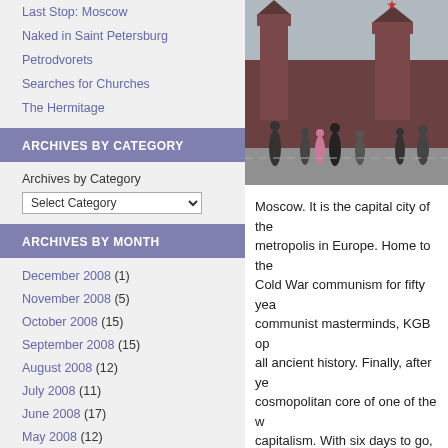Last Stop: Moscow
Naked in Saint Petersburg
Petrodvorets
Searches for Churches
The Hermitage
Archives by Category
Archives by Category
Archives by Month
December 2008 (1)
November 2008 (5)
October 2008 (15)
September 2008 (15)
August 2008 (12)
July 2008 (11)
June 2008 (17)
May 2008 (12)
April 2008 (16)
March 2008 (10)
February 2008 (10)
January 2008 (9)
[Figure (photo): Photo of Red Square in Moscow with Kremlin towers visible, people walking in the foreground]
Moscow. It is the capital city of the... metropolis in Europe. Home to the... Cold War communism for fifty yea... communist masterminds, KGB o... all ancient history. Finally, after ye... cosmopolitan core of one of the w... capitalism. With six days to go, w... journey around the world.
After nearly missing our train in S... of the very few times on the trip th... completely unprepared and, cons...